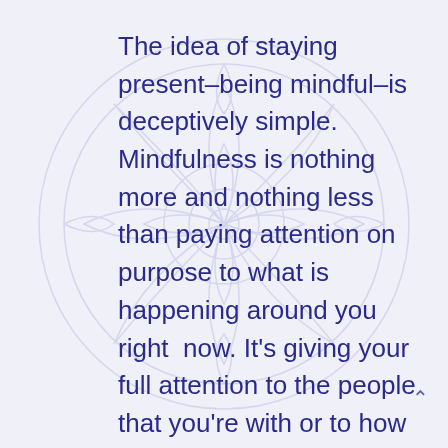The idea of staying present–being mindful–is deceptively simple. Mindfulness is nothing more and nothing less than paying attention on purpose to what is happening around you right  now. It's giving your full attention to the people that you're with or to how you are feeling or what you are doing in any given moment.
The concept is easy, but because the human mind is a thinking mind, the practice is often difficult. It's hard to be mindful but the practice can help...